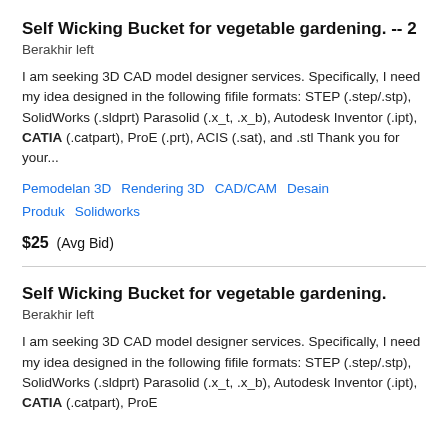Self Wicking Bucket for vegetable gardening. -- 2
Berakhir left
I am seeking 3D CAD model designer services. Specifically, I need my idea designed in the following fifile formats: STEP (.step/.stp), SolidWorks (.sldprt) Parasolid (.x_t, .x_b), Autodesk Inventor (.ipt), CATIA (.catpart), ProE (.prt), ACIS (.sat), and .stl Thank you for your...
Pemodelan 3D   Rendering 3D   CAD/CAM   Desain Produk   Solidworks
$25  (Avg Bid)
Self Wicking Bucket for vegetable gardening.
Berakhir left
I am seeking 3D CAD model designer services. Specifically, I need my idea designed in the following fifile formats: STEP (.step/.stp), SolidWorks (.sldprt) Parasolid (.x_t, .x_b), Autodesk Inventor (.ipt), CATIA (.catpart), ProE